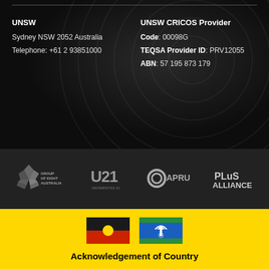UNSW
Sydney NSW 2052 Australia
Telephone: +61 2 93851000
UNSW CRICOS Provider
Code: 00098G
TEQSA Provider ID: PRV12055
ABN: 57 195 873 179
[Figure (logo): Group of Eight Australia logo]
[Figure (logo): U21 Universitas 21 logo]
[Figure (logo): APRU logo]
[Figure (logo): PLuS Alliance logo]
[Figure (illustration): Aboriginal Flag - black top half, red bottom half, yellow circle center]
[Figure (illustration): Torres Strait Islander Flag - green top and bottom stripes, blue center with white dhari headdress and star]
Acknowledgement of Country